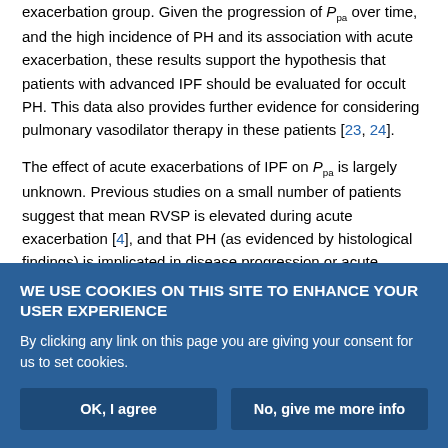exacerbation group. Given the progression of P_pa over time, and the high incidence of PH and its association with acute exacerbation, these results support the hypothesis that patients with advanced IPF should be evaluated for occult PH. This data also provides further evidence for considering pulmonary vasodilator therapy in these patients [23, 24].
The effect of acute exacerbations of IPF on P_pa is largely unknown. Previous studies on a small number of patients suggest that mean RVSP is elevated during acute exacerbation [4], and that PH (as evidenced by histological findings) is implicated in disease progression or acute exacerbation [25]. In our study, mean RVSP
WE USE COOKIES ON THIS SITE TO ENHANCE YOUR USER EXPERIENCE
By clicking any link on this page you are giving your consent for us to set cookies.